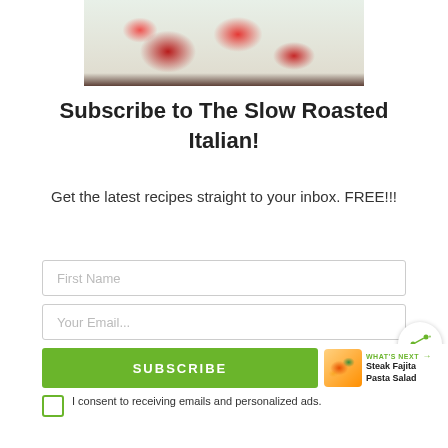[Figure (photo): Close-up photo of a strawberry dessert/cake with whipped cream topping and fresh strawberry slices]
Subscribe to The Slow Roasted Italian!
Get the latest recipes straight to your inbox. FREE!!!
First Name
Your Email...
SUBSCRIBE
I consent to receiving emails and personalized ads.